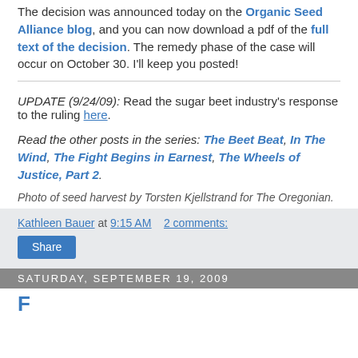The decision was announced today on the Organic Seed Alliance blog, and you can now download a pdf of the full text of the decision. The remedy phase of the case will occur on October 30. I'll keep you posted!
UPDATE (9/24/09): Read the sugar beet industry's response to the ruling here.
Read the other posts in the series: The Beet Beat, In The Wind, The Fight Begins in Earnest, The Wheels of Justice, Part 2.
Photo of seed harvest by Torsten Kjellstrand for The Oregonian.
Kathleen Bauer at 9:15 AM    2 comments:
Share
Saturday, September 19, 2009